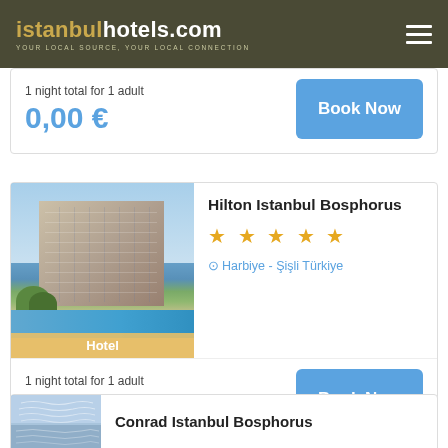istanbulhotels.com — YOUR LOCAL SOURCE, YOUR LOCAL CONNECTION
1 night total for 1 adult
0,00 €
Book Now
[Figure (photo): Hilton Istanbul Bosphorus hotel exterior with pool area and trees, labeled 'Hotel']
Hilton Istanbul Bosphorus
★ ★ ★ ★ ★
Harbiye - Şişli Türkiye
1 night total for 1 adult
0,00 €
Book Now
[Figure (photo): Conrad Istanbul Bosphorus hotel exterior — partial view]
Conrad Istanbul Bosphorus